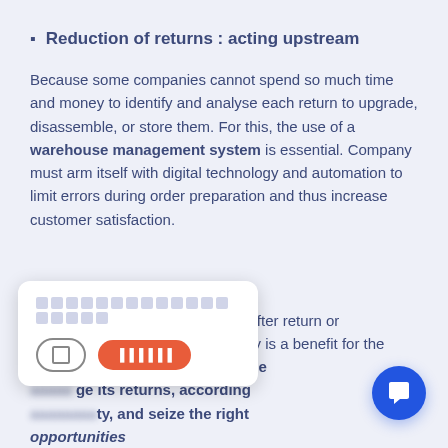Reduction of returns : acting upstream
Because some companies cannot spend so much time and money to identify and analyse each return to upgrade, disassemble, or store them. For this, the use of a warehouse management system is essential. Company must arm itself with digital technology and automation to limit errors during order preparation and thus increase customer satisfaction.
Putting the product back on sale after return or [blurred] right way is a benefit for the [blurred] ny it must think about the [blurred] ge its returns, according [blurred] ty, and seize the right opportunities